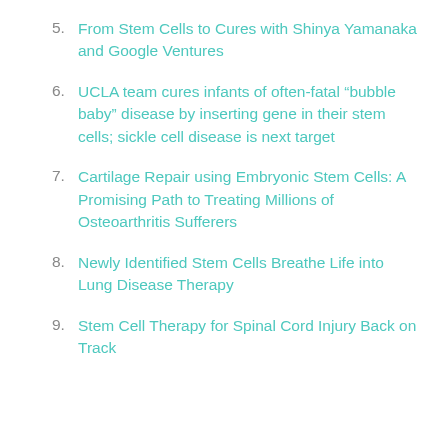5. From Stem Cells to Cures with Shinya Yamanaka and Google Ventures
6. UCLA team cures infants of often-fatal “bubble baby” disease by inserting gene in their stem cells; sickle cell disease is next target
7. Cartilage Repair using Embryonic Stem Cells: A Promising Path to Treating Millions of Osteoarthritis Sufferers
8. Newly Identified Stem Cells Breathe Life into Lung Disease Therapy
9. Stem Cell Therapy for Spinal Cord Injury Back on Track